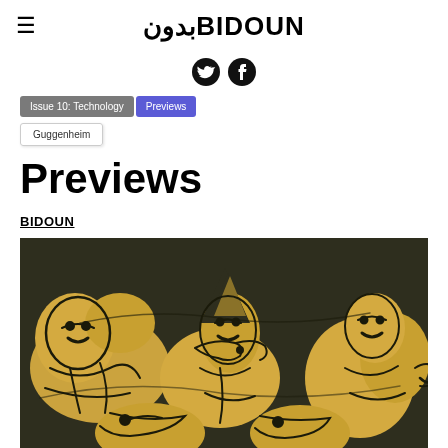≡ BIDOUN (Arabic: بدون)
[Figure (other): Social media icons (Twitter bird and Facebook logo) in black circles]
Issue 10: Technology   Previews
Guggenheim
Previews
BIDOUN
[Figure (illustration): Artwork showing stylized figures in yellow/ochre tones on a dark background, drawn with loose expressive black line work. Multiple reclining and interacting human figures fill the composition.]